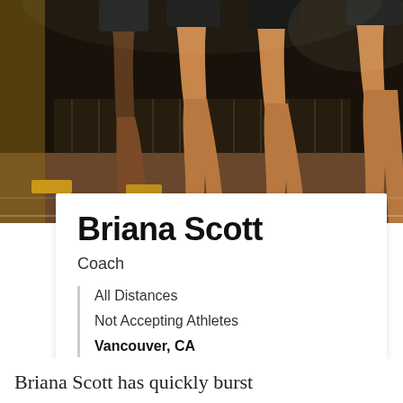[Figure (photo): Athletes at a running track at night, crouching in starting positions, legs visible from thighs down on a dark background]
Briana Scott
Coach
All Distances
Not Accepting Athletes
Vancouver, CA
Briana Scott has quickly burst